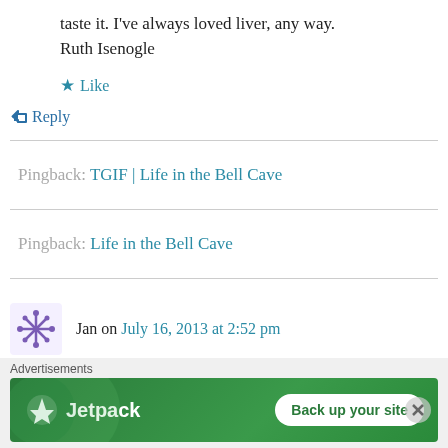taste it. I've always loved liver, any way.
Ruth Isenogle
★ Like
↳ Reply
Pingback: TGIF | Life in the Bell Cave
Pingback: Life in the Bell Cave
Jan on July 16, 2013 at 2:52 pm
Thanks for this recipe! You're right bacon is the
Advertisements
[Figure (screenshot): Jetpack advertisement banner with green background, Jetpack logo and 'Back up your site' button]